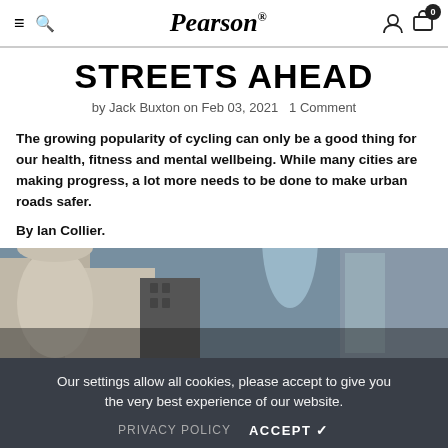≡ 🔍 Pearson® 👤 🛒 0
STREETS AHEAD
by Jack Buxton on Feb 03, 2021   1 Comment
The growing popularity of cycling can only be a good thing for our health, fitness and mental wellbeing. While many cities are making progress, a lot more needs to be done to make urban roads safer.
By Ian Collier.
[Figure (photo): Street-level urban photo showing buildings and architecture in a city]
Our settings allow all cookies, please accept to give you the very best experience of our website. PRIVACY POLICY  ACCEPT ✔